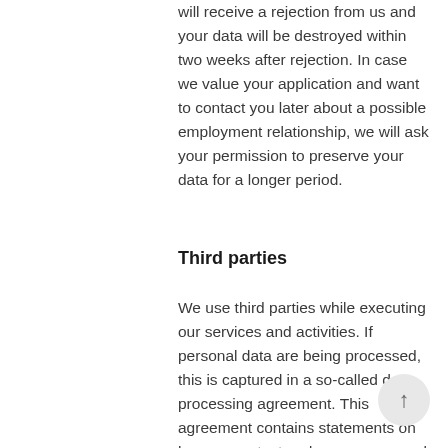will receive a rejection from us and your data will be destroyed within two weeks after rejection. In case we value your application and want to contact you later about a possible employment relationship, we will ask your permission to preserve your data for a longer period.
Third parties
We use third parties while executing our services and activities. If personal data are being processed, this is captured in a so-called data processing agreement. This agreement contains statements on how we protect and secure personal data.